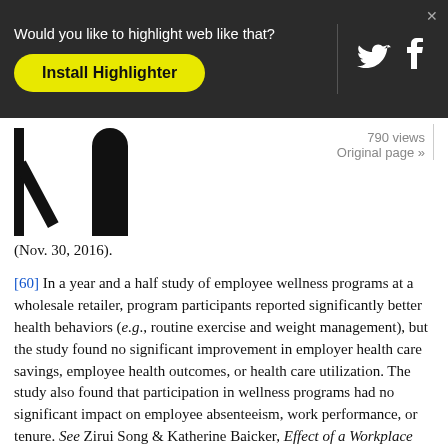[Figure (screenshot): Browser toolbar overlay with 'Would you like to highlight web like that?' prompt, 'Install Highlighter' yellow button, Twitter and Facebook icons, and close button]
[Figure (other): Partially visible icons/glyphs and view count sidebar showing '790 views' and 'Original page »']
(Nov. 30, 2016).
[60] In a year and a half study of employee wellness programs at a wholesale retailer, program participants reported significantly better health behaviors (e.g., routine exercise and weight management), but the study found no significant improvement in employer health care savings, employee health outcomes, or health care utilization. The study also found that participation in wellness programs had no significant impact on employee absenteeism, work performance, or tenure. See Zirui Song & Katherine Baicker, Effect of a Workplace Wellness Program on Employee Health and Economic Outcomes: A Randomized Clinical Trial, 321(15) JAMA 1491, 1497-1499 (2019).
[61] An “insured” group health plan is a health plan where the